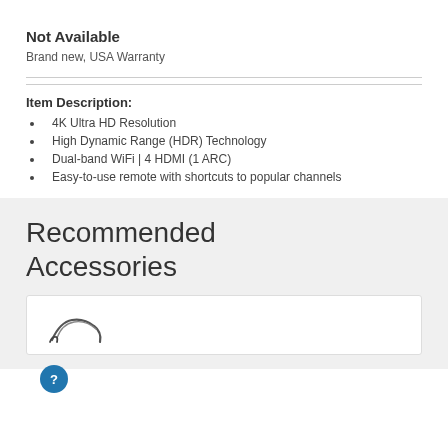Not Available
Brand new, USA Warranty
Item Description:
4K Ultra HD Resolution
High Dynamic Range (HDR) Technology
Dual-band WiFi | 4 HDMI (1 ARC)
Easy-to-use remote with shortcuts to popular channels
Recommended Accessories
[Figure (illustration): Accessory item card with a headphone/cable illustration in the lower portion of the page]